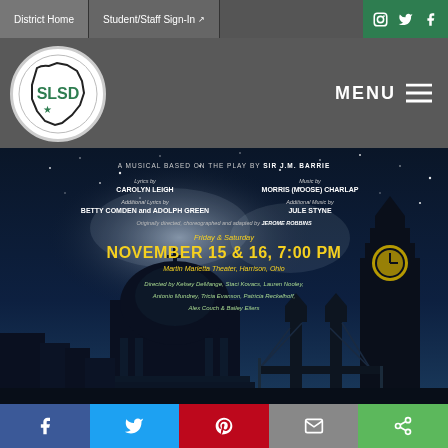District Home | Student/Staff Sign-In
[Figure (logo): SLSD school district logo - circular white badge with green SLSD letters and Ohio state outline]
MENU
[Figure (infographic): Peter Pan musical poster on dark night sky background with London silhouette. Text: A MUSICAL BASED ON THE PLAY BY SIR J.M. BARRIE. Lyrics by CAROLYN LEIGH. Music by MORRIS (MOOSE) CHARLAP. Additional Lyrics by BETTY COMDEN and ADOLPH GREEN. Additional Music by JULE STYNE. Originally directed, choreographed and adapted by JEROME ROBBINS. Friday & Saturday NOVEMBER 15 & 16, 7:00 PM. Martin Marietta Theater, Harrison, Ohio. Directed by Kelsey DeMange, Staci Kovacs, Lauren Nooley, Antonio Mundrey, Tricia Evanson, Patricia Reckelhoff, Alex Couch & Bailey Eilers.]
Social share bar: Facebook, Twitter, Pinterest, Email, Share